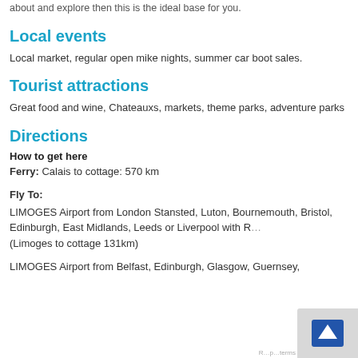about and explore then this is the ideal base for you.
Local events
Local market, regular open mike nights, summer car boot sales.
Tourist attractions
Great food and wine, Chateauxs, markets, theme parks, adventure parks
Directions
How to get here
Ferry: Calais to cottage: 570 km
Fly To:
LIMOGES Airport from London Stansted, Luton, Bournemouth, Bristol, Edinburgh, East Midlands, Leeds or Liverpool with R... (Limoges to cottage 131km)
LIMOGES Airport from Belfast, Edinburgh, Glasgow, Guernsey,